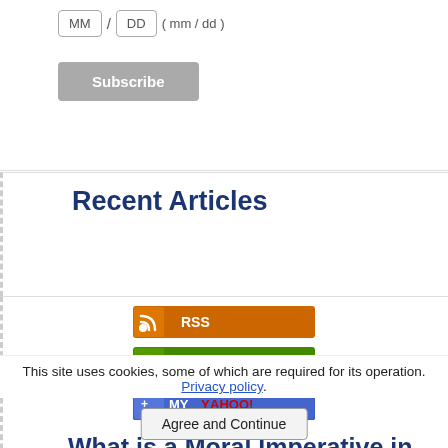[Figure (screenshot): Date input fields showing MM and DD boxes with slash separator and (mm / dd) hint text]
[Figure (screenshot): Subscribe button (gray rounded rectangle)]
Recent Articles
[Figure (screenshot): RSS feed subscription buttons: RSS (orange), Follow (green), MY YAHOO! (blue/red)]
What is a Moral Imperative in Education?
Jul 05, 22 04:21 AM
This site uses cookies, some of which are required for its operation. Privacy policy.
[Figure (screenshot): Agree and Continue button]